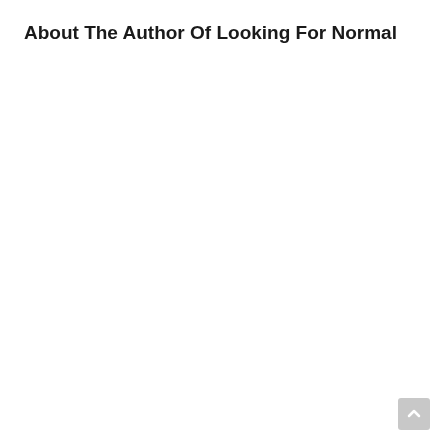About The Author Of Looking For Normal